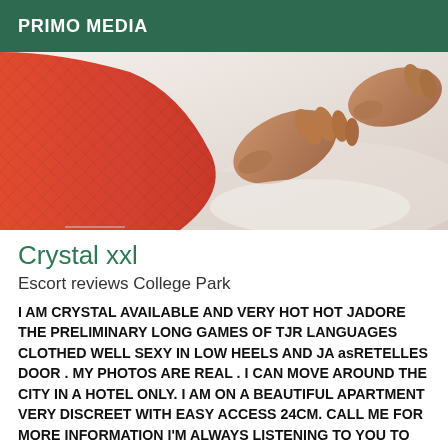PRIMO MEDIA
[Figure (photo): Photo of a person wearing red fishnet stockings on a bed, with hands visible on white bedding]
Crystal xxl
Escort reviews College Park
I AM CRYSTAL AVAILABLE AND VERY HOT HOT JADORE THE PRELIMINARY LONG GAMES OF TJR LANGUAGES CLOTHED WELL SEXY IN LOW HEELS AND JA asRETELLES DOOR . MY PHOTOS ARE REAL . I CAN MOVE AROUND THE CITY IN A HOTEL ONLY. I AM ON A BEAUTIFUL APARTMENT VERY DISCREET WITH EASY ACCESS 24CM. CALL ME FOR MORE INFORMATION I'M ALWAYS LISTENING TO YOU TO SATISFY YOU. I'M WAITING FOR YOUR CALL BIG BIG BIG CRYSTAL KISSES. PS THE SMS